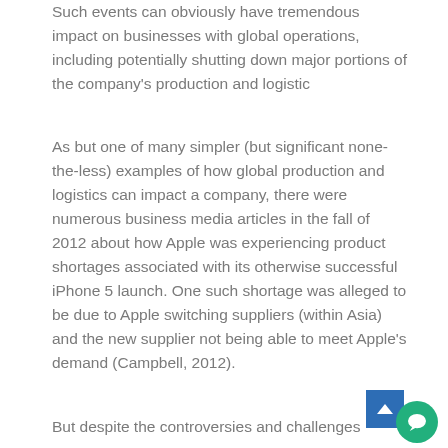Such events can obviously have tremendous impact on businesses with global operations, including potentially shutting down major portions of the company's production and logistic
As but one of many simpler (but significant none-the-less) examples of how global production and logistics can impact a company, there were numerous business media articles in the fall of 2012 about how Apple was experiencing product shortages associated with its otherwise successful iPhone 5 launch. One such shortage was alleged to be due to Apple switching suppliers (within Asia) and the new supplier not being able to meet Apple's demand (Campbell, 2012).
But despite the controversies and challenges